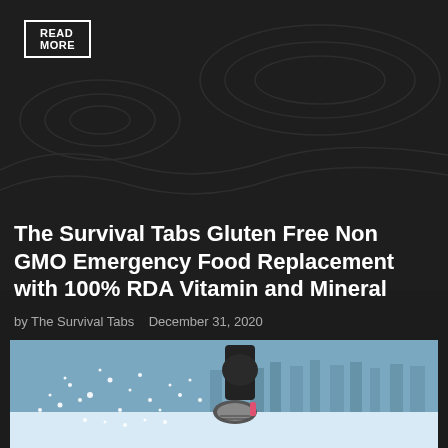READ MORE
The Survival Tabs Gluten Free Non GMO Emergency Food Replacement with 100% RDA Vitamin and Mineral
by The Survival Tabs   December 31, 2020
[Figure (photo): Person running through snow in athletic shoes and dark clothing, snow splashing around feet, blurred blue winter background with trees]